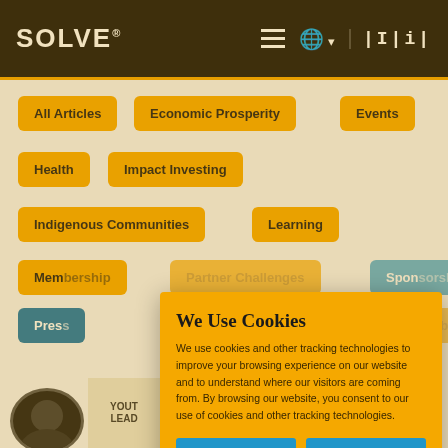SOLVE® MIT — Navigation bar with hamburger menu, globe icon, MIT logo
All Articles
Economic Prosperity
Events
Health
Impact Investing
Indigenous Communities
Learning
Membership
Partner Challenges
Sponsorship (blue)
Press (blue selected)
Sponsorship
Sustainable Cities
We Use Cookies

We use cookies and other tracking technologies to improve your browsing experience on our website and to understand where our visitors are coming from. By browsing our website, you consent to our use of cookies and other tracking technologies.
ACCEPT
REJECT